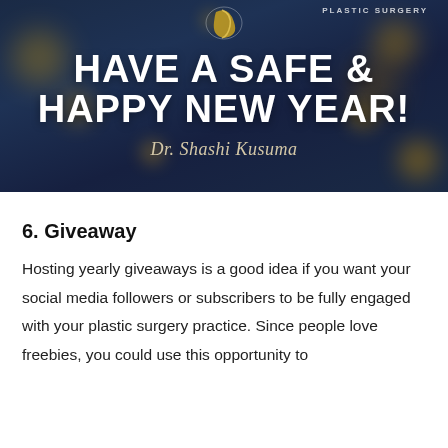[Figure (illustration): Promotional image with dark navy blue background with golden bokeh light effects. A logo with a crescent/leaf shape appears at top center. Text reads 'PLASTIC SURGERY' at top, then large white bold text 'HAVE A SAFE & HAPPY NEW YEAR!' with cursive signature 'Dr. Shashi Kusuma' below.]
6. Giveaway
Hosting yearly giveaways is a good idea if you want your social media followers or subscribers to be fully engaged with your plastic surgery practice. Since people love freebies, you could use this opportunity to